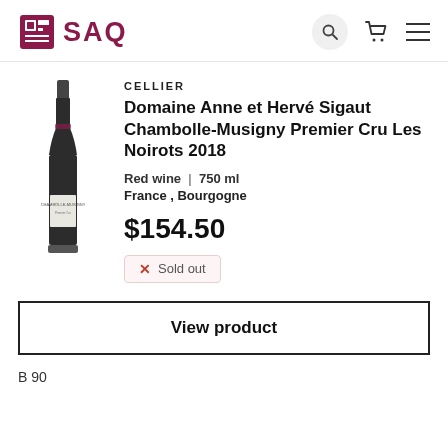SAQ
[Figure (photo): Wine bottle with label reading Chambolle-Musigny, dark glass bottle with gray capsule]
CELLIER
Domaine Anne et Hervé Sigaut Chambolle-Musigny Premier Cru Les Noirots 2018
Red wine  |  750 ml
France , Bourgogne
$154.50
✕  Sold out
View product
B 90